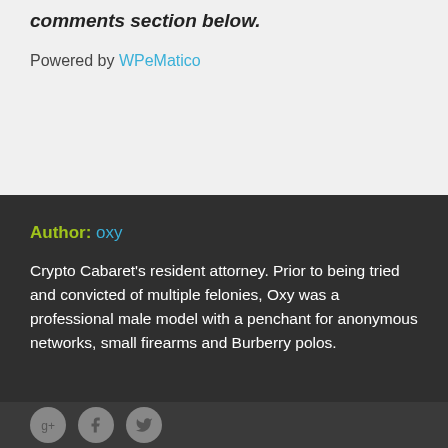comments section below.
Powered by WPeMatico
Author: oxy
Crypto Cabaret's resident attorney. Prior to being tried and convicted of multiple felonies, Oxy was a professional male model with a penchant for anonymous networks, small firearms and Burberry polos.
[Figure (other): Social media icon buttons: Google+, Facebook, Twitter]